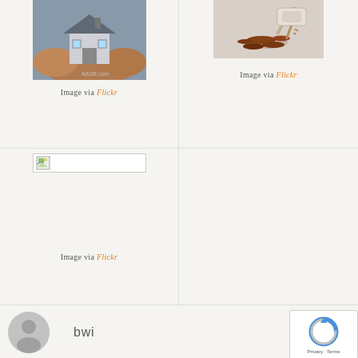[Figure (photo): Hands holding a miniature house model, with AADB.com watermark]
Image via Flickr
[Figure (photo): Coins and keys scattered on a surface]
Image via Flickr
[Figure (photo): Broken/missing image placeholder with small icon]
Image via Flickr
bwi
[Figure (other): reCAPTCHA widget with Privacy and Terms links]